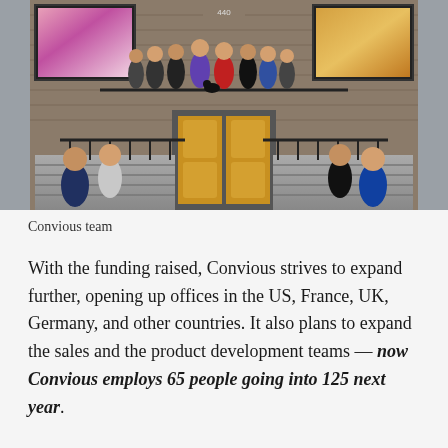[Figure (photo): Group photo of the Convious team posing on the steps and upper balcony of a classic brick building with golden ornate doors, iron railings, and large windows.]
Convious team
With the funding raised, Convious strives to expand further, opening up offices in the US, France, UK, Germany, and other countries. It also plans to expand the sales and the product development teams — now Convious employs 65 people going into 125 next year.